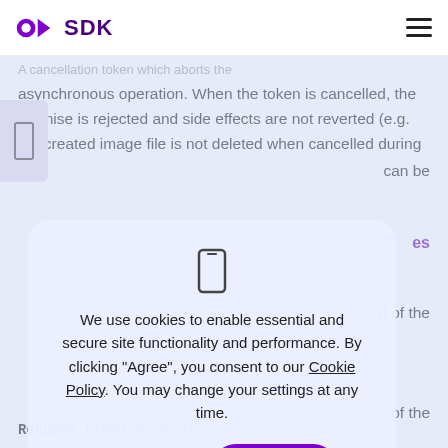SDK
A cancellation token which aborts the asynchronous operation. When the token is cancelled, the promise is rejected and side effects are not reverted (e.g. the created image file is not deleted when cancelled during
can be
es
d of the
We use cookies to enable essential and secure site functionality and performance. By clicking “Agree”, you consent to our Cookie Policy. You may change your settings at any time.
of the
Returns Promise<void>